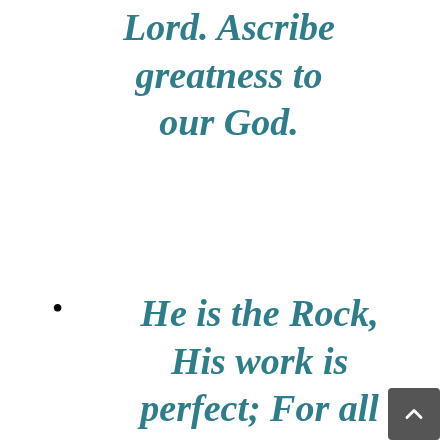Lord. Ascribe greatness to our God.
He is the Rock, His work is perfect; For all